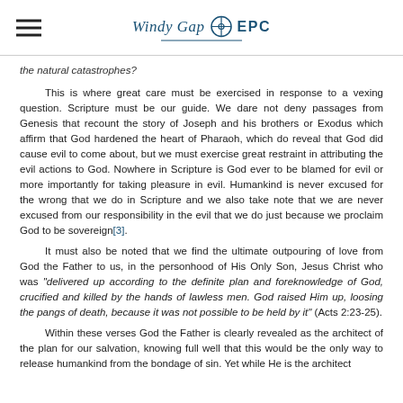Windy Gap EPC
the natural catastrophes?
This is where great care must be exercised in response to a vexing question. Scripture must be our guide. We dare not deny passages from Genesis that recount the story of Joseph and his brothers or Exodus which affirm that God hardened the heart of Pharaoh, which do reveal that God did cause evil to come about, but we must exercise great restraint in attributing the evil actions to God. Nowhere in Scripture is God ever to be blamed for evil or more importantly for taking pleasure in evil. Humankind is never excused for the wrong that we do in Scripture and we also take note that we are never excused from our responsibility in the evil that we do just because we proclaim God to be sovereign[3].
It must also be noted that we find the ultimate outpouring of love from God the Father to us, in the personhood of His Only Son, Jesus Christ who was “delivered up according to the definite plan and foreknowledge of God, crucified and killed by the hands of lawless men. God raised Him up, loosing the pangs of death, because it was not possible to be held by it” (Acts 2:23-25).
Within these verses God the Father is clearly revealed as the architect of the plan for our salvation, knowing full well that this would be the only way to release humankind from the bondage of sin. Yet while He is the architect